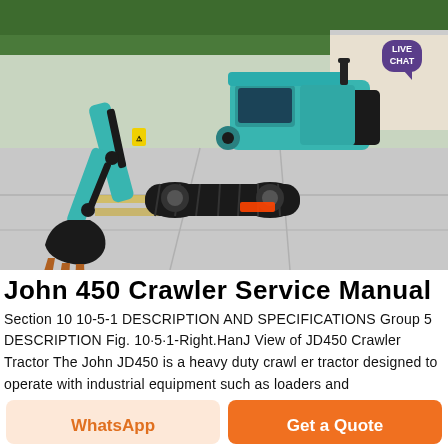[Figure (photo): Photo of a teal/turquoise mini crawler excavator on a concrete surface, showing the arm, bucket, and tracks. A purple 'LIVE CHAT' speech bubble is visible in the upper right corner.]
John 450 Crawler Service Manual
Section 10 10-5-1 DESCRIPTION AND SPECIFICATIONS Group 5 DESCRIPTION Fig. 10·5·1-Right.HanJ View of JD450 Crawler Tractor The John JD450 is a heavy duty crawl er tractor designed to operate with industrial equipment such as loaders and
WhatsApp
Get a Quote